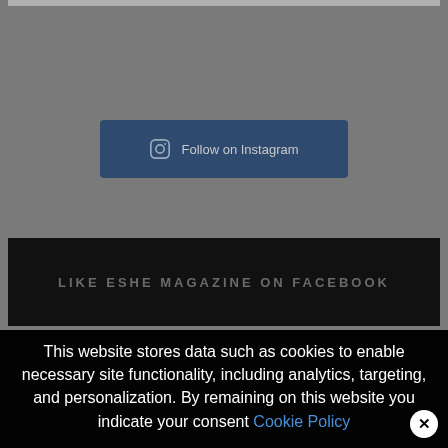[Figure (screenshot): Instagram follow button with camera icon on dark blue background within a grey website sidebar area]
LIKE ESHE MAGAZINE ON FACEBOOK
This website stores data such as cookies to enable necessary site functionality, including analytics, targeting, and personalization. By remaining on this website you indicate your consent Cookie Policy